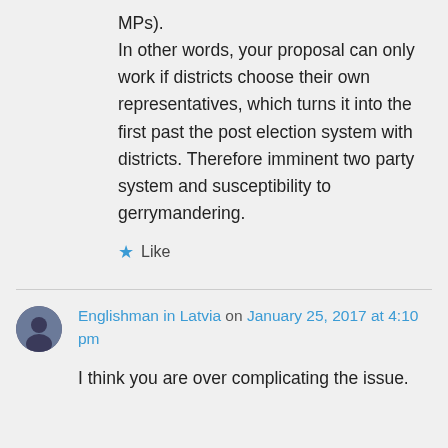MPs). In other words, your proposal can only work if districts choose their own representatives, which turns it into the first past the post election system with districts. Therefore imminent two party system and susceptibility to gerrymandering.
★ Like
Englishman in Latvia on January 25, 2017 at 4:10 pm
I think you are over complicating the issue.